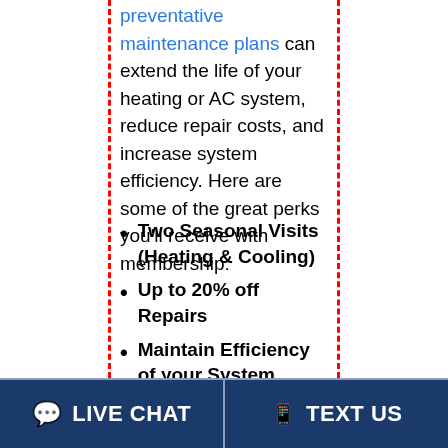preventative maintenance plans can extend the life of your heating or AC system, reduce repair costs, and increase system efficiency. Here are some of the great perks you'll receive with membership:
Two Seasonal Visits (Heating & Cooling)
Up to 20% off Repairs
Maintain Efficiency of your System
Never Pay Overtime Rates
Priority VIP Service
Discounts on IAQ Accessories
Easy Scheduling Online
LIVE CHAT   TEXT US